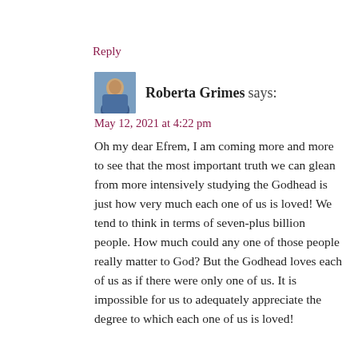Reply
Roberta Grimes says:
May 12, 2021 at 4:22 pm
Oh my dear Efrem, I am coming more and more to see that the most important truth we can glean from more intensively studying the Godhead is just how very much each one of us is loved! We tend to think in terms of seven-plus billion people. How much could any one of those people really matter to God? But the Godhead loves each of us as if there were only one of us. It is impossible for us to adequately appreciate the degree to which each one of us is loved!
Reply